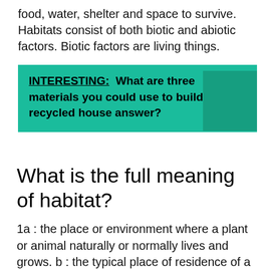food, water, shelter and space to survive. Habitats consist of both biotic and abiotic factors. Biotic factors are living things.
INTERESTING:  What are three materials you could use to build a recycled house answer?
What is the full meaning of habitat?
1a : the place or environment where a plant or animal naturally or normally lives and grows. b : the typical place of residence of a person or a group the arctic habitat of the Inuit. c : a housing for a controlled physical environment in which people can live under